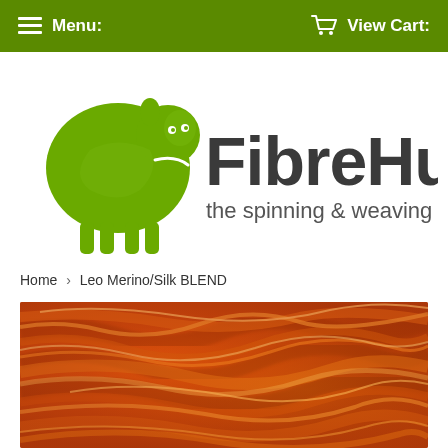Menu:   View Cart:
[Figure (logo): FibreHut logo with green sheep illustration and text 'FibreHut the spinning & weaving shop']
Home › Leo Merino/Silk BLEND
[Figure (photo): Close-up photo of orange/rust colored merino silk fiber blend wool roving]